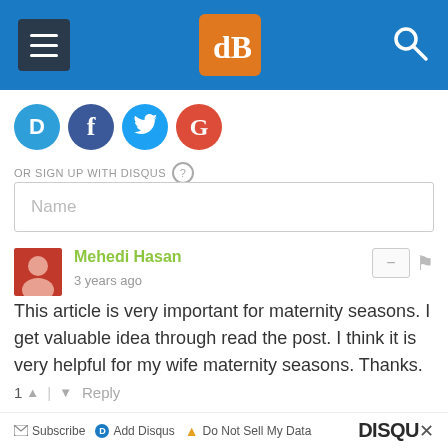[Figure (screenshot): Website navigation bar with hamburger menu, dPS logo in orange square, and search icon on blue background]
[Figure (infographic): Social login icons row: Disqus (D), Facebook (f), Twitter bird, Google (G) in colored circles]
OR SIGN UP WITH DISQUS ?
Name
Mehedi Hasan
3 years ago
This article is very important for maternity seasons. I get valuable idea through read the post. I think it is very helpful for my wife maternity seasons. Thanks.
1 ^ | v Reply
Subscribe  Add Disqus  Do Not Sell My Data  DISQUS x